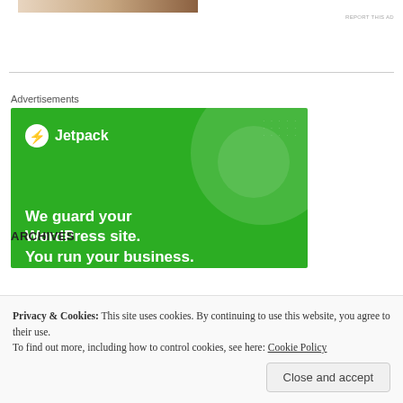[Figure (photo): Partial image of a person at the top of the page, cropped, showing clothing and background]
REPORT THIS AD
[Figure (other): Jetpack advertisement banner on green background with logo, text 'We guard your WordPress site. You run your business.']
Advertisements
Privacy & Cookies: This site uses cookies. By continuing to use this website, you agree to their use.
To find out more, including how to control cookies, see here: Cookie Policy
Close and accept
ARCHIVES